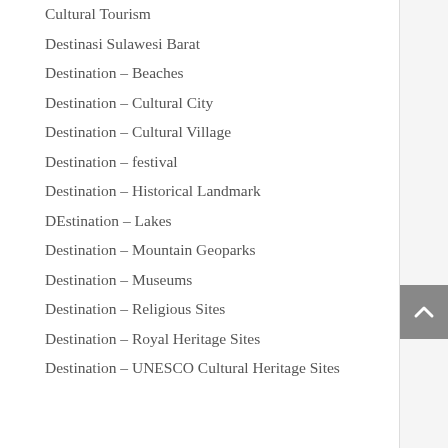Cultural Tourism
Destinasi Sulawesi Barat
Destination – Beaches
Destination – Cultural City
Destination – Cultural Village
Destination – festival
Destination – Historical Landmark
DEstination – Lakes
Destination – Mountain Geoparks
Destination – Museums
Destination – Religious Sites
Destination – Royal Heritage Sites
Destination – UNESCO Cultural Heritage Sites